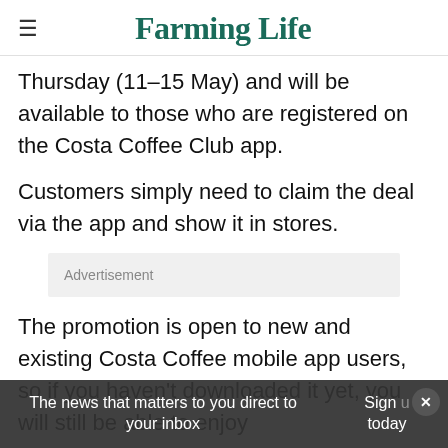Farming Life
Thursday (11–15 May) and will be available to those who are registered on the Costa Coffee Club app.
Customers simply need to claim the deal via the app and show it in stores.
Advertisement
The promotion is open to new and existing Costa Coffee mobile app users, so if you haven't downloaded it yet, you will still be able to enjoy
The news that matters to you direct to your inbox
Sign today